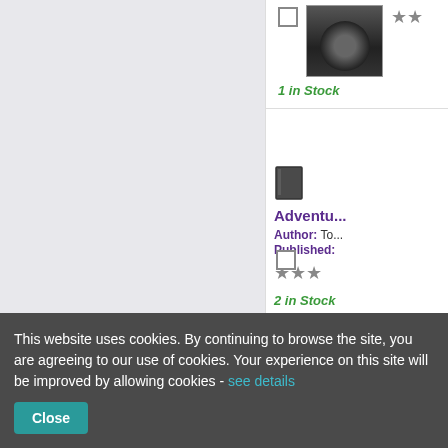[Figure (photo): Book cover showing a dark hooded figure]
1 in Stock
[Figure (illustration): Dark book icon]
Adventu...
Author: To...
Published:...
2 in Stock
[Figure (illustration): Dark book icon]
Lucky Lu...
Author: Pe...
This website uses cookies. By continuing to browse the site, you are agreeing to our use of cookies. Your experience on this site will be improved by allowing cookies - see details
Close